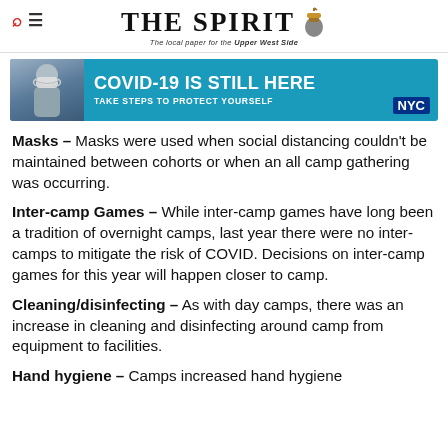THE SPIRIT — The local paper for the Upper West Side
[Figure (infographic): NYC COVID-19 advertisement banner: person wearing mask, text 'COVID-19 IS STILL HERE', 'TAKE STEPS TO PROTECT YOURSELF', NYC logo]
Masks – Masks were used when social distancing couldn't be maintained between cohorts or when an all camp gathering was occurring.
Inter-camp Games – While inter-camp games have long been a tradition of overnight camps, last year there were no inter-camps to mitigate the risk of COVID. Decisions on inter-camp games for this year will happen closer to camp.
Cleaning/disinfecting – As with day camps, there was an increase in cleaning and disinfecting around camp from equipment to facilities.
Hand hygiene – Camps increased hand hygiene